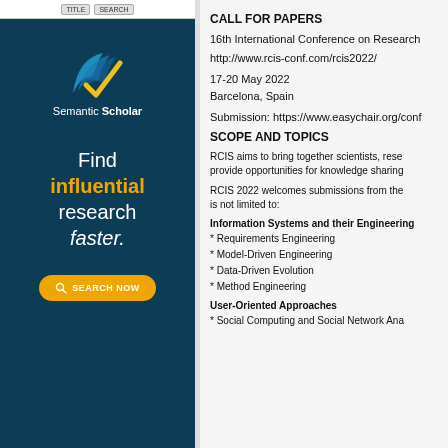[Figure (logo): Semantic Scholar logo and advertisement banner with dark teal background, logo icon, text 'Find influential research faster.' and yellow search button]
CALL FOR PAPERS
16th International Conference on Research
http://www.rcis-conf.com/rcis2022/
17-20 May 2022
Barcelona, Spain
Submission: https://www.easychair.org/conf
SCOPE AND TOPICS
RCIS aims to bring together scientists, rese... provide opportunities for knowledge sharing
RCIS 2022 welcomes submissions from the... is not limited to:
Information Systems and their Engineering
* Requirements Engineering
* Model-Driven Engineering
* Data-Driven Evolution
* Method Engineering
User-Oriented Approaches
* Social Computing and Social Network Ana